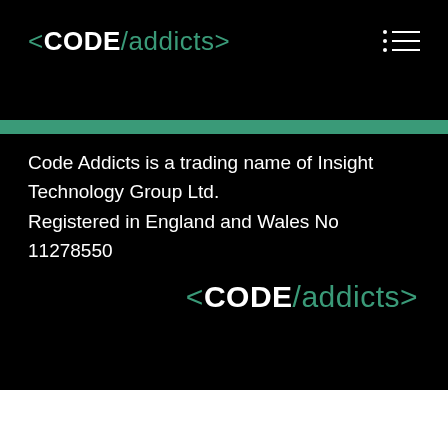[Figure (logo): Code Addicts logo in top-left: angle bracket, bold CODE, slash, addicts, closing angle bracket in teal/white on black background. Hamburger menu icon top-right.]
Code Addicts is a trading name of Insight Technology Group Ltd.
Registered in England and Wales No 11278550
[Figure (logo): Code Addicts logo bottom-right: angle bracket, bold CODE, slash, addicts, closing angle bracket in teal/white on black background.]